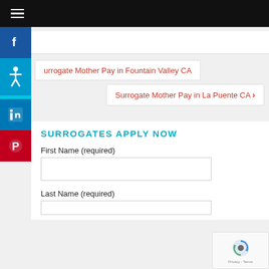Navigation menu header bar
Surrogate Mother Pay in Fountain Valley CA
Surrogate Mother Pay in La Puente CA
SURROGATES APPLY NOW
First Name (required)
Last Name (required)